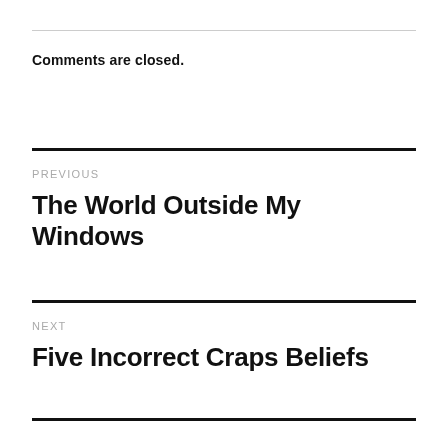Comments are closed.
PREVIOUS
The World Outside My Windows
NEXT
Five Incorrect Craps Beliefs